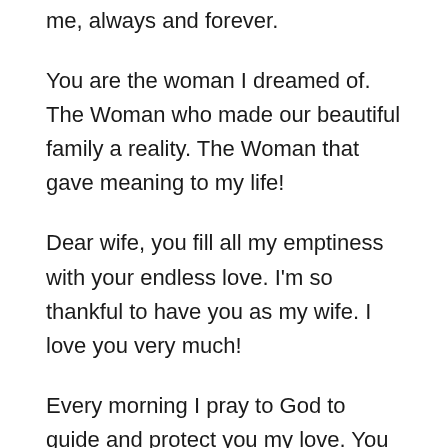me, always and forever.
You are the woman I dreamed of. The Woman who made our beautiful family a reality. The Woman that gave meaning to my life!
Dear wife, you fill all my emptiness with your endless love. I'm so thankful to have you as my wife. I love you very much!
Every morning I pray to God to guide and protect you my love. You make my mornings and evenings beautiful. I love you. Before I met you, I never knew what it meant to love. Now that I have you my heart is filled with your love.
I see myself in your eyes and feel your presence deep